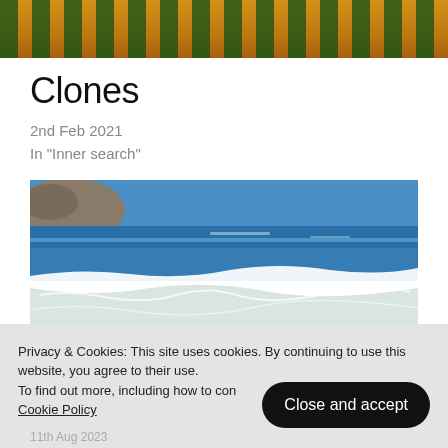[Figure (photo): Top portion of a building with yellow/orange walls and green shuttered windows]
Clones
2nd Feb 2021
In "Inner search"
[Figure (photo): Beach scene with blue ocean, white waves, and sandy shore]
Privacy & Cookies: This site uses cookies. By continuing to use this website, you agree to their use. To find out more, including how to con Cookie Policy
Close and accept